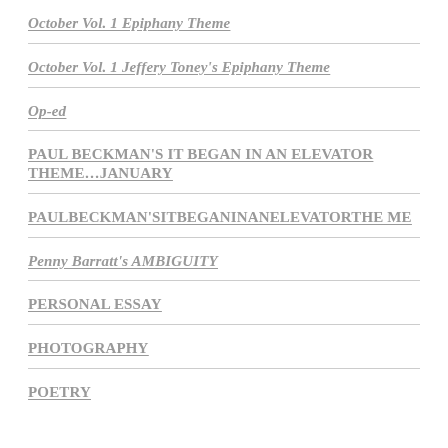October Vol. 1 Epiphany Theme
October Vol. 1 Jeffery Toney's Epiphany Theme
Op-ed
PAUL BECKMAN'S IT BEGAN IN AN ELEVATOR THEME…JANUARY
PAULBECKMAN'SITBEGANINANELEVATORTHE ME
Penny Barratt's AMBIGUITY
PERSONAL ESSAY
PHOTOGRAPHY
POETRY